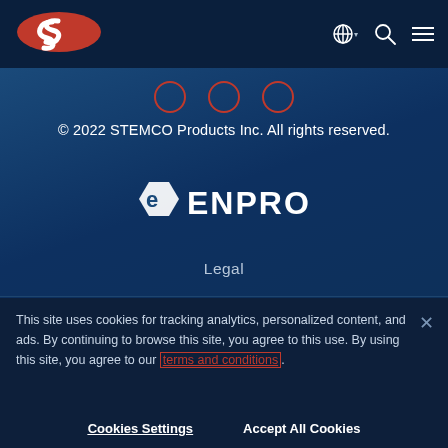[Figure (logo): STEMCO red oval logo with stylized S in white, top-left of dark navy header bar]
[Figure (infographic): Navigation icons: globe with chevron, search magnifier, hamburger menu — white icons on dark navy header]
[Figure (infographic): Three red-outlined circle social media icons in a row below the header]
© 2022 STEMCO Products Inc. All rights reserved.
[Figure (logo): Enpro logo: white hexagon badge with stylized e, followed by ENPRO text in white capitals]
Legal
This site uses cookies for tracking analytics, personalized content, and ads. By continuing to browse this site, you agree to this use. By using this site, you agree to our terms and conditions.
Cookies Settings
Accept All Cookies